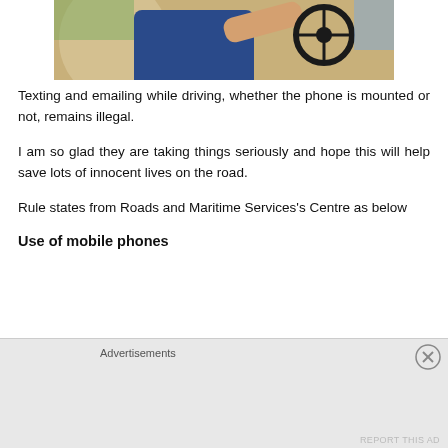[Figure (photo): Person driving a car, hands on steering wheel, wearing a blue shirt, viewed from passenger side]
Texting and emailing while driving, whether the phone is mounted or not, remains illegal.
I am so glad they are taking things seriously and hope this will help save lots of innocent lives on the road.
Rule states from Roads and Maritime Services's Centre as below
Use of mobile phones
Advertisements